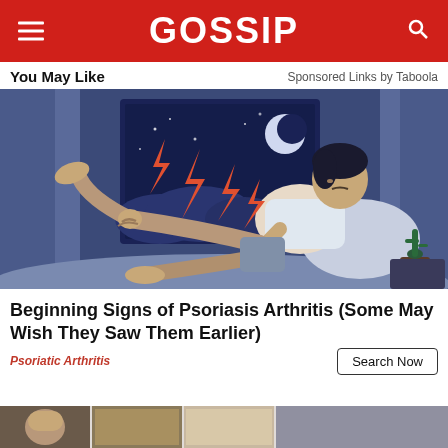GOSSIP
You May Like
Sponsored Links by Taboola
[Figure (illustration): Illustration of a man lying on a bed at night, clutching his knee with pain lightning bolt symbols around him, nighttime window scene with moon in background, blue and purple tones]
Beginning Signs of Psoriasis Arthritis (Some May Wish They Saw Them Earlier)
Psoriatic Arthritis
Search Now
[Figure (photo): Bottom strip showing partial thumbnail images of articles]